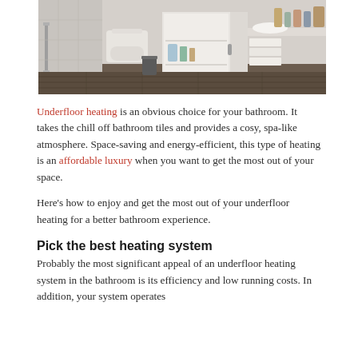[Figure (photo): Modern bathroom interior showing a wall-mounted toilet, open white vanity cabinet with shelves, sink with vessel basin, and countertop with various toiletries and folded towels on dark wood-look flooring]
Underfloor heating is an obvious choice for your bathroom. It takes the chill off bathroom tiles and provides a cosy, spa-like atmosphere. Space-saving and energy-efficient, this type of heating is an affordable luxury when you want to get the most out of your space.
Here's how to enjoy and get the most out of your underfloor heating for a better bathroom experience.
Pick the best heating system
Probably the most significant appeal of an underfloor heating system in the bathroom is its efficiency and low running costs. In addition, your system operates